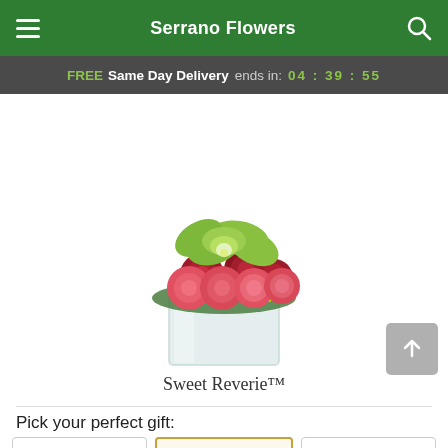Serrano Flowers
FREE Same Day Delivery ends in: 04 : 39 : 55
[Figure (photo): A floral arrangement called Sweet Reverie showing red and pink roses topped with green orchids and yellow berries in a clear square glass vase.]
Sweet Reverie™
Pick your perfect gift: